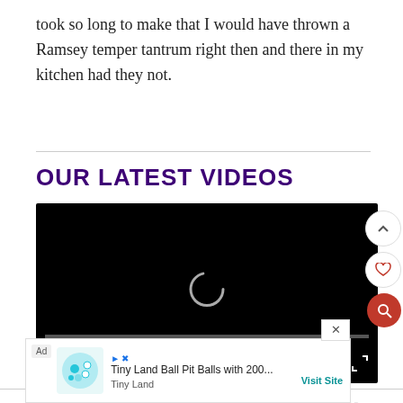took so long to make that I would have thrown a Ramsey temper tantrum right then and there in my kitchen had they not.
OUR LATEST VIDEOS
[Figure (screenshot): Video player with black background showing a loading spinner and controls showing 00:00 / 16:34]
The ki... since their m... lly tell
[Figure (screenshot): Ad overlay: Tiny Land Ball Pit Balls with 200... by Tiny Land with Visit Site button]